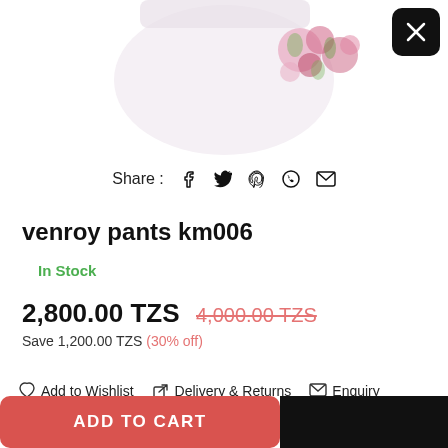[Figure (photo): Product image of white floral pants (venroy pants km006) partially visible at top of page with pink and green floral pattern]
Share : [social icons: Facebook, Twitter, Pinterest, WhatsApp, Email]
venroy pants km006
In Stock
2,800.00 TZS  4,000.00 TZS
Save 1,200.00 TZS (30% off)
Add to Wishlist   Delivery & Returns   Enquiry
ADD TO CART